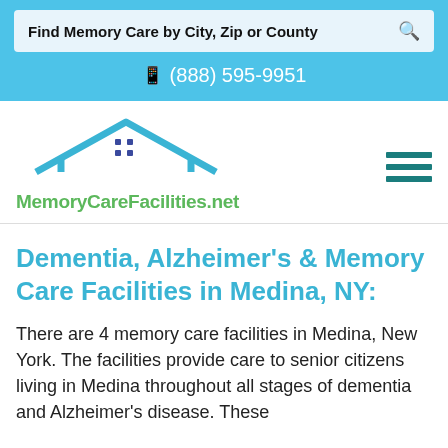Find Memory Care by City, Zip or County
(888) 595-9951
[Figure (logo): MemoryCareFacilities.net logo with house/roof icon in blue and green text]
Dementia, Alzheimer's & Memory Care Facilities in Medina, NY:
There are 4 memory care facilities in Medina, New York. The facilities provide care to senior citizens living in Medina throughout all stages of dementia and Alzheimer's disease. These